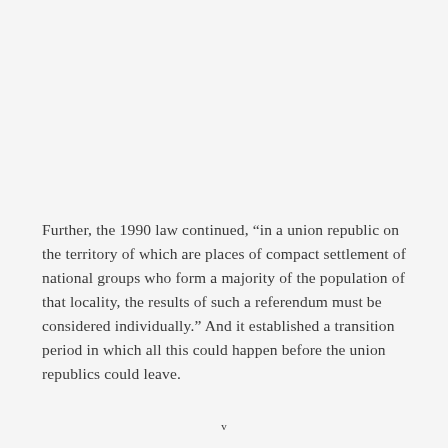Further, the 1990 law continued, “in a union republic on the territory of which are places of compact settlement of national groups who form a majority of the population of that locality, the results of such a referendum must be considered individually.” And it established a transition period in which all this could happen before the union republics could leave.
v